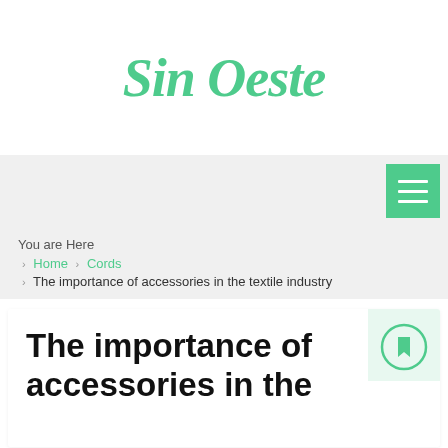Sin Oeste
[Figure (other): Hamburger menu icon button (three horizontal white lines on green background)]
You are Here
Home > Cords
> The importance of accessories in the textile industry
[Figure (other): Bookmark/flag circle icon with green outline and fill on light green background]
The importance of accessories in the